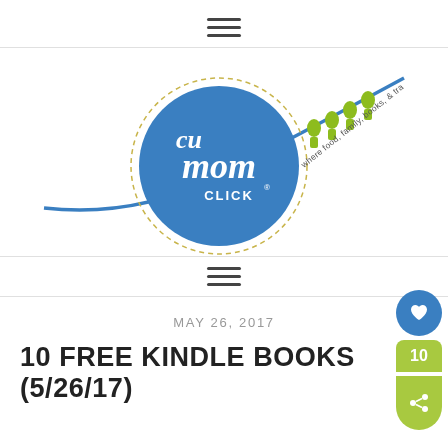hamburger menu icon
[Figure (logo): CU Mom Click logo — a blue circle with white handwritten text 'cu mom CLICK' and a tagline 'where food, family, books, & travel click' with green figure icons on a curved blue line]
hamburger menu icon
MAY 26, 2017
10 FREE KINDLE BOOKS (5/26/17)